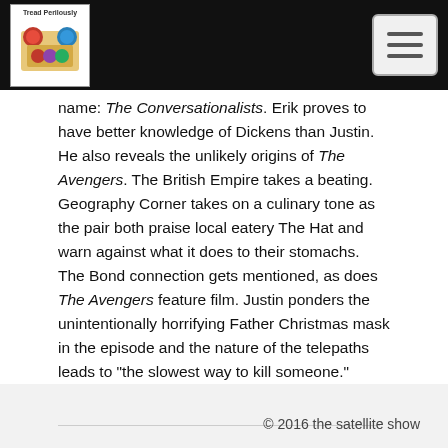Tread Perilously
name: The Conversationalists. Erik proves to have better knowledge of Dickens than Justin. He also reveals the unlikely origins of The Avengers. The British Empire takes a beating. Geography Corner takes on a culinary tone as the pair both praise local eatery The Hat and warn against what it does to their stomachs. The Bond connection gets mentioned, as does The Avengers feature film. Justin ponders the unintentionally horrifying Father Christmas mask in the episode and the nature of the telepaths leads to "the slowest way to kill someone."
© 2016 the satellite show